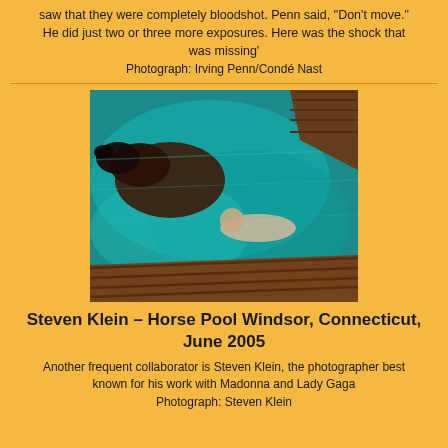saw that they were completely bloodshot. Penn said, "Don't move." He did just two or three more exposures. Here was the shock that was missing'
Photograph: Irving Penn/Condé Nast
[Figure (photo): A horse and a person swimming together in a turquoise pool with wooden decking visible]
Steven Klein – Horse Pool Windsor, Connecticut, June 2005
Another frequent collaborator is Steven Klein, the photographer best known for his work with Madonna and Lady Gaga
Photograph: Steven Klein